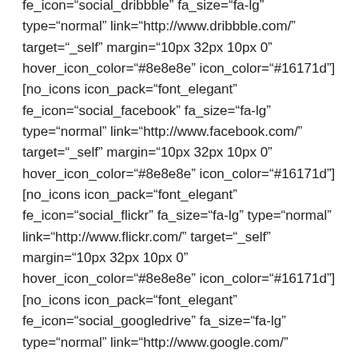fe_icon="social_dribbble" fa_size="fa-lg" type="normal" link="http://www.dribbble.com/" target="_self" margin="10px 32px 10px 0" hover_icon_color="#8e8e8e" icon_color="#16171d"][no_icons icon_pack="font_elegant" fe_icon="social_facebook" fa_size="fa-lg" type="normal" link="http://www.facebook.com/" target="_self" margin="10px 32px 10px 0" hover_icon_color="#8e8e8e" icon_color="#16171d"][no_icons icon_pack="font_elegant" fe_icon="social_flickr" fa_size="fa-lg" type="normal" link="http://www.flickr.com/" target="_self" margin="10px 32px 10px 0" hover_icon_color="#8e8e8e" icon_color="#16171d"][no_icons icon_pack="font_elegant" fe_icon="social_googledrive" fa_size="fa-lg" type="normal" link="http://www.google.com/" target="_self" margin="10px 32px 10px 0" hover_icon_color="#8e8e8e" icon_color="#16171d"][no_icons icon_pack="font_elegant" fe_icon="social_googleplus" fa_size="fa-lg" type="normal"